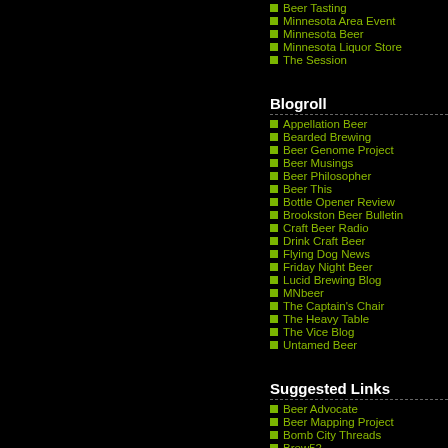Beer Tasting
Minnesota Area Event
Minnesota Beer
Minnesota Liquor Store
The Session
Blogroll
Appellation Beer
Bearded Brewing
Beer Genome Project
Beer Musings
Beer Philosopher
Beer This
Bottle Opener Review
Brookston Beer Bulletin
Craft Beer Radio
Drink Craft Beer
Flying Dog News
Friday Night Beer
Lucid Brewing Blog
MNbeer
The Captain's Chair
The Heavy Table
The Vice Blog
Untamed Beer
Suggested Links
Beer Advocate
Beer Mapping Project
Bomb City Threads
Brew52
Minnesota Brewers Association